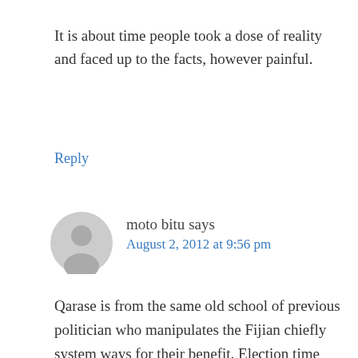It is about time people took a dose of reality and faced up to the facts, however painful.
Reply
moto bitu says
August 2, 2012 at 9:56 pm
Qarase is from the same old school of previous politician who manipulates the Fijian chiefly system ways for their benefit. Election time they come around to the province visting villages and promising everything as well as giving the chiefs abit of gift wink wink who then tells his people who to vote for.